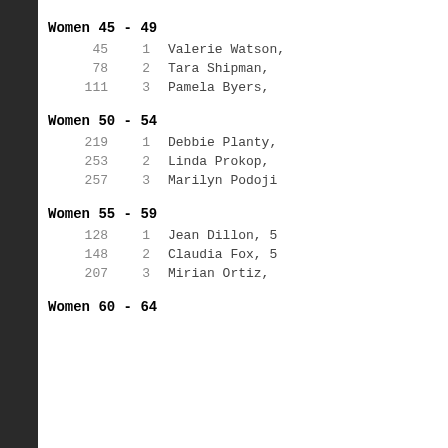Women 45 - 49
45    1    Valerie Watson,
78    2    Tara Shipman,
111   3    Pamela Byers,
Women 50 - 54
219   1    Debbie Planty,
253   2    Linda Prokop,
257   3    Marilyn Podoji
Women 55 - 59
128   1    Jean Dillon, 5
148   2    Claudia Fox, 5
207   3    Mirian Ortiz,
Women 60 - 64